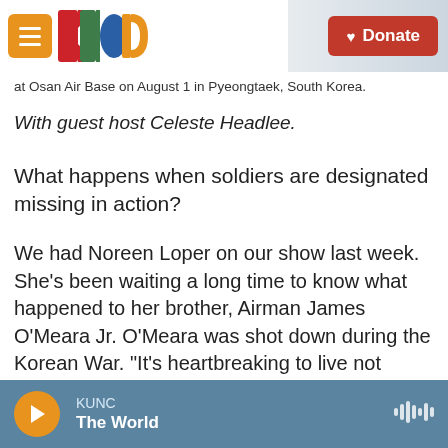KUNC — Donate
at Osan Air Base on August 1 in Pyeongtaek, South Korea.
With guest host Celeste Headlee.
What happens when soldiers are designated missing in action?
We had Noreen Loper on our show last week. She's been waiting a long time to know what happened to her brother, Airman James O'Meara Jr. O'Meara was shot down during the Korean War. “It's heartbreaking to live not knowing one way or the other…you can't simply let it go,” she told us.
KUNC — The World